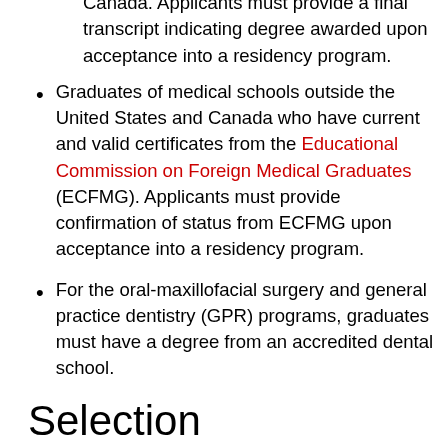Canada. Applicants must provide a final transcript indicating degree awarded upon acceptance into a residency program.
Graduates of medical schools outside the United States and Canada who have current and valid certificates from the Educational Commission on Foreign Medical Graduates (ECFMG). Applicants must provide confirmation of status from ECFMG upon acceptance into a residency program.
For the oral-maxillofacial surgery and general practice dentistry (GPR) programs, graduates must have a degree from an accredited dental school.
Selection
Programs select from among eligible applicants on the basis of their preparedness and ability to benefit from the program to which they are appointed. Aptitude, academic credentials, personal characteristics and ability to communicate are